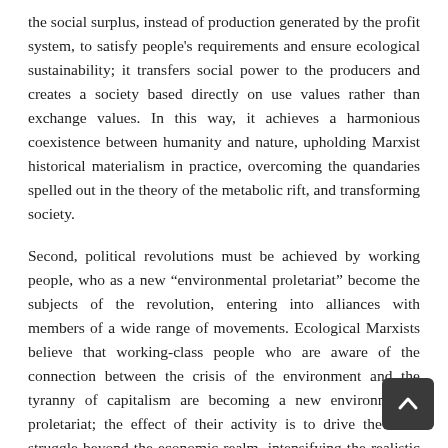the social surplus, instead of production generated by the profit system, to satisfy people's requirements and ensure ecological sustainability; it transfers social power to the producers and creates a society based directly on use values rather than exchange values. In this way, it achieves a harmonious coexistence between humanity and nature, upholding Marxist historical materialism in practice, overcoming the quandaries spelled out in the theory of the metabolic rift, and transforming society.
Second, political revolutions must be achieved by working people, who as a new “environmental proletariat” become the subjects of the revolution, entering into alliances with members of a wide range of movements. Ecological Marxists believe that working-class people who are aware of the connection between the crisis of the environment and the tyranny of capitalism are becoming a new environmental proletariat; the effect of their activity is to drive the class struggle beyond the economic realm, intensifying the realistic manifestations of their “co-revolutionary”